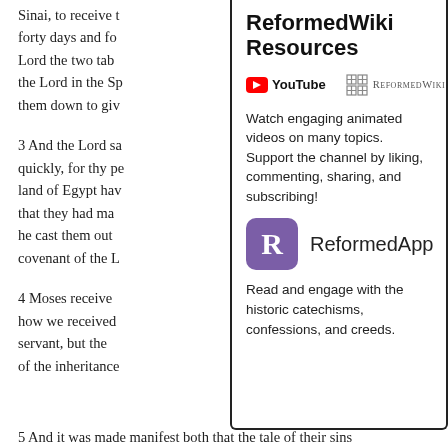Sinai, to receive the law, and was there forty days and forty nights, and gave the Lord the two tables of the covenant of the Lord in the Spirit, and brought them down to give
3 And the Lord said unto him, Get thee quickly, for thy people which thou land of Egypt have corrupted themselves, that they had made them; and Moses he cast them out of his sight the covenant of the L
4 Moses received how we received servant, but the of the inheritance
ReformedWiki Resources
[Figure (logo): YouTube logo (red play button icon) with text 'YouTube', a vertical divider, and ReformedWiki logo with cross/grid icon and small-caps text 'ReformedWiki']
Watch engaging animated videos on many topics. Support the channel by liking, commenting, sharing, and subscribing!
[Figure (logo): ReformedApp logo: purple rounded square with white 'R' letter, followed by text 'ReformedApp']
Read and engage with the historic catechisms, confessions, and creeds.
5 And it was made manifest both that the tale of their sins